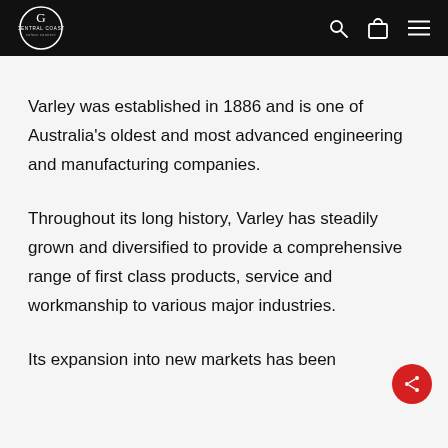Central Coast — navigation bar with logo, search, cart, and menu icons
Varley was established in 1886 and is one of Australia's oldest and most advanced engineering and manufacturing companies.
Throughout its long history, Varley has steadily grown and diversified to provide a comprehensive range of first class products, service and workmanship to various major industries.
Its expansion into new markets has been